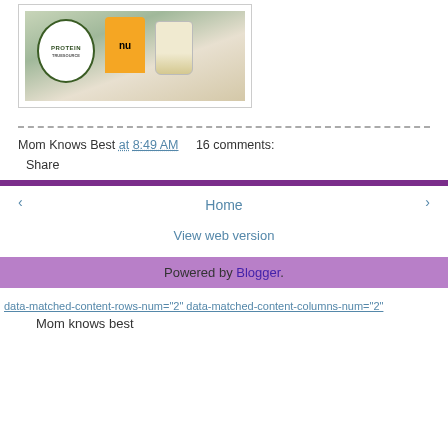[Figure (photo): Photo of a protein powder container (labeled PROTEIN, green/white) and a glass with a shake, on a wooden surface, inside a white-bordered card.]
Mom Knows Best at 8:49 AM    16 comments:
Share
‹   Home   ›
View web version
Powered by Blogger.
data-matched-content-rows-num="2" data-matched-content-columns-num="2"
Mom knows best